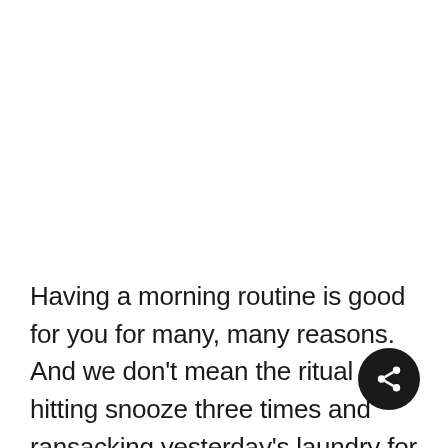Having a morning routine is good for you for many, many reasons. And we don't mean the ritual of hitting snooze three times and ransacking yesterday's laundry for clean underwear and matching socks before chugging coffee, grabbing a pastry, and lurching out the door into rush-hour traffic.